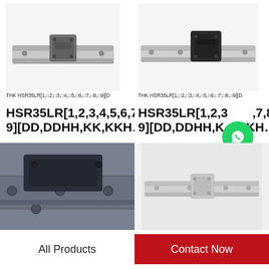[Figure (photo): THK HSR35LR linear guide rail with slider block, small size, perspective view on white background]
THK HSR35LR[1,□2,□3,□4,□5,□6,□7,□8,□9][D
HSR35LR[1,2,3,4,5,6,7,8,9][DD,DDHH,KK,KKH…
[Figure (photo): THK HSR35LR linear guide rail with larger slider block, longer rail, perspective view on white background]
THK HSR35LR[1,□2,□3,□4,□5,□6,□7,□8,□9][D
HSR35LR[1,2,3,4,5,6,7,8,9][DD,DDHH,KK,KKH…
[Figure (illustration): WhatsApp Online button with green phone icon, text 'WhatsApp Online']
[Figure (photo): Close-up of THK linear guide rail block mounted on wide rail, dark anodized aluminum, showing bolt holes]
[Figure (photo): THK linear guide rail with small silver slider block, long rail, side-angle view on light gray background]
All Products
Contact Now